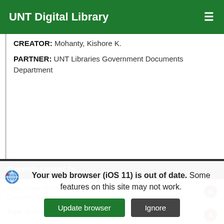UNT Digital Library
CREATOR: Mohanty, Kishore K.
PARTNER: UNT Libraries Government Documents Department
Currently Limited To
Title: Dilute Surfactant Methods for Carbonate Formations Quarterly Report
Type: Report
Your web browser (iOS 11) is out of date. Some features on this site may not work.